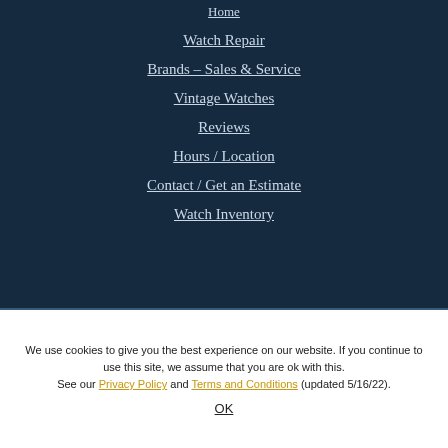Home
Watch Repair
Brands – Sales & Service
Vintage Watches
Reviews
Hours / Location
Contact / Get an Estimate
Watch Inventory
We use cookies to give you the best experience on our website. If you continue to use this site, we assume that you are ok with this. See our Privacy Policy and Terms and Conditions (updated 5/16/22).
OK